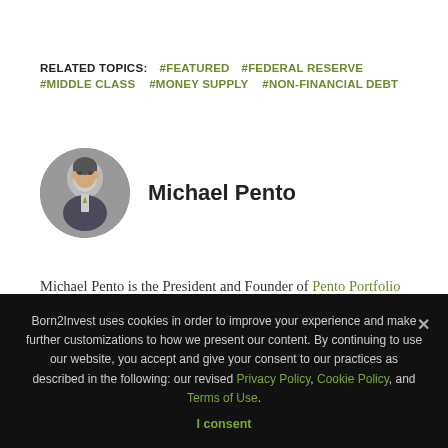RELATED TOPICS: #FEATURED  #FEDERAL RESERVE  #MIDDLE CLASS  #MONEY SUPPLY  #NON-FINANCIAL DEBT
[Figure (photo): Circular avatar photo of Michael Pento, a man in a suit]
Michael Pento
Michael Pento is the President and Founder of Pento Portfolio Strategies (PPS). PPS is a Registered Investment Advisory Firm that provides money management services. The firm also provides research for individual and institutional clients through its weekly podcast called, The Mid-week Reality Check. PPS' Inflation/Deflation Dynamic Portfolio SM is replicated by major...
Born2Invest uses cookies in order to improve your experience and make further customizations to how we present our content. By continuing to use our website, you accept and give your consent to our practices as described in the following: our revised Privacy Policy, Cookie Policy, and Terms of Use. I consent